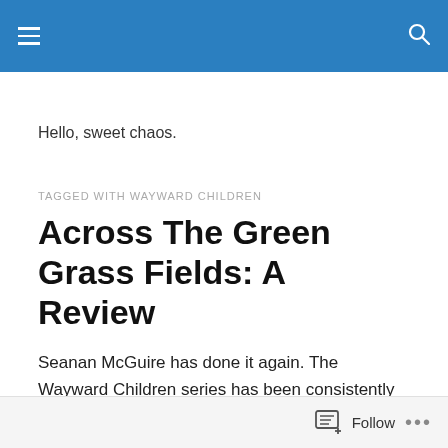Hello, sweet chaos.
TAGGED WITH WAYWARD CHILDREN
Across The Green Grass Fields: A Review
Seanan McGuire has done it again. The Wayward Children series has been consistently amazing, and Across the Green Grass Fields is no exception. One year
Follow